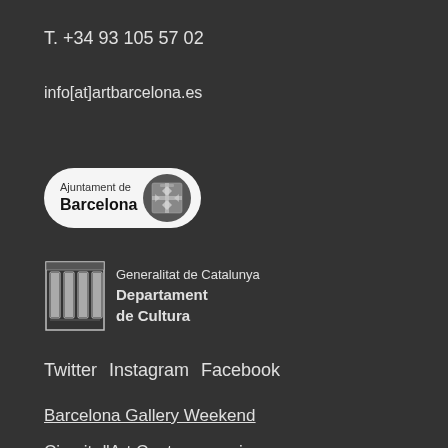T. +34 93 105 57 02
info[at]artbarcelona.es
[Figure (logo): Ajuntament de Barcelona logo — pill-shaped white badge with text 'Ajuntament de Barcelona' and city crest emblem]
[Figure (logo): Generalitat de Catalunya, Departament de Cultura logo — four vertical stripes emblem with text]
Twitter  Instagram  Facebook
Barcelona Gallery Weekend
Circuit d'Art Contemporani
Art Nou